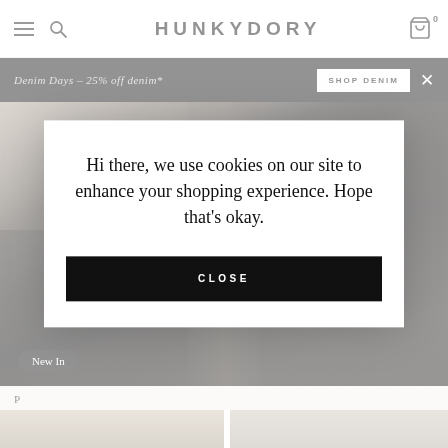HUNKYDORY — navigation bar with hamburger menu, search icon, brand logo, and cart icon (0 items)
Denim Days – 25% off denim*
SHOP DENIM
[Figure (photo): Model wearing black leather trousers and black top, cropped to show torso and legs against a neutral background. A 'New In' badge appears at the bottom left.]
New In
Hi there, we use cookies on our site to enhance your shopping experience. Hope that's okay.
CLOSE